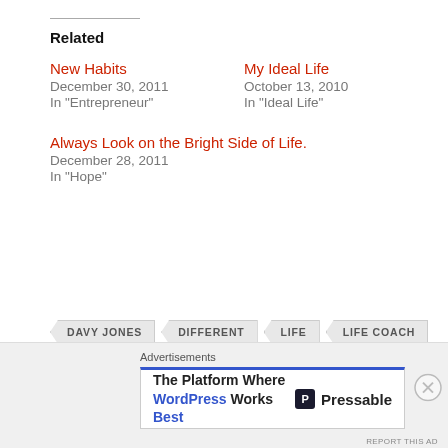Related
New Habits
December 30, 2011
In "Entrepreneur"
My Ideal Life
October 13, 2010
In "Ideal Life"
Always Look on the Bright Side of Life.
December 28, 2011
In "Hope"
DAVY JONES
DIFFERENT
LIFE
LIFE COACH
THE WHO
Advertisements
The Platform Where WordPress Works Best
Pressable